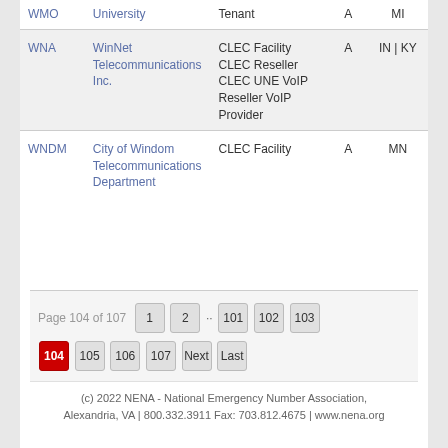| Code | Name | Type | Status | State |
| --- | --- | --- | --- | --- |
| WMO | University | Tenant | A | MI |
| WNA | WinNet Telecommunications Inc. | CLEC Facility
CLEC Reseller
CLEC UNE VoIP
Reseller VoIP Provider | A | IN | KY |
| WNDM | City of Windom Telecommunications Department | CLEC Facility | A | MN |
Page 104 of 107
(c) 2022 NENA - National Emergency Number Association, Alexandria, VA | 800.332.3911 Fax: 703.812.4675 | www.nena.org